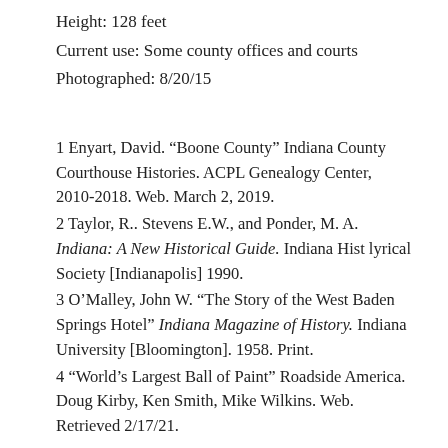Height: 128 feet
Current use: Some county offices and courts
Photographed: 8/20/15
1 Enyart, David. “Boone County” Indiana County Courthouse Histories. ACPL Genealogy Center, 2010-2018. Web. March 2, 2019.
2 Taylor, R.. Stevens E.W., and Ponder, M. A. Indiana: A New Historical Guide. Indiana Hist lyrical Society [Indianapolis] 1990.
3 O’Malley, John W. “The Story of the West Baden Springs Hotel” Indiana Magazine of History. Indiana University [Bloomington]. 1958. Print.
4 “World’s Largest Ball of Paint” Roadside America. Doug Kirby, Ken Smith, Mike Wilkins. Web. Retrieved 2/17/21.